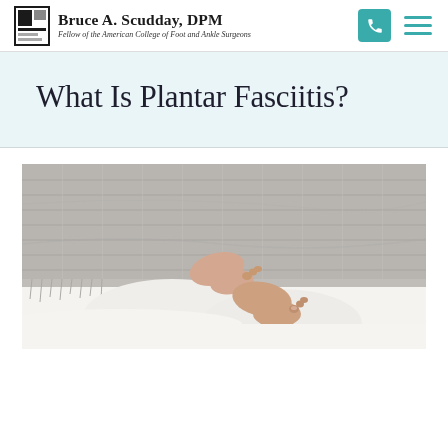Bruce A. Scudday, DPM — Fellow of the American College of Foot and Ankle Surgeons
What Is Plantar Fasciitis?
[Figure (photo): Photograph of a person's bare feet peeking out from under a grey knit blanket over white bedding, suggesting foot rest or heel pain context.]